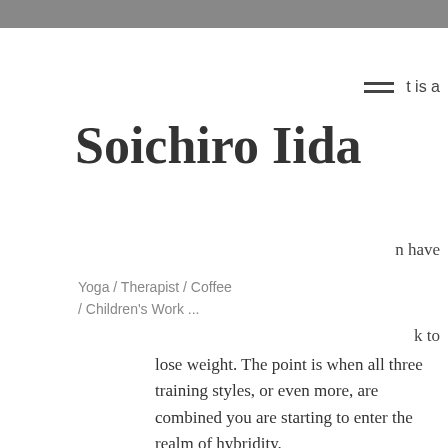t is a
Soichiro Iida
n have
Yoga / Therapist / Coffee / Children's Work ...
k to
lose weight. The point is when all three training styles, or even more, are combined you are starting to enter the realm of hybridity.
Why You Have to Do Both CrossFit and Bodybuilding, steroid stack for powerlifting?
CrossFit is very different to bodybuilding and the reasons for this are many and varied. For one thing, CrossFit is about improving strength through resistance exercise, steroid stack with hgh. Whereas bodybuilding and